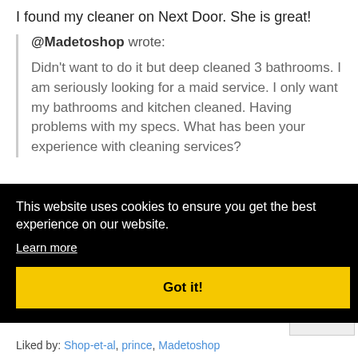I found my cleaner on Next Door. She is great!
@Madetoshop wrote:
Didn't want to do it but deep cleaned 3 bathrooms. I am seriously looking for a maid service. I only want my bathrooms and kitchen cleaned. Having problems with my specs. What has been your experience with cleaning services?
This website uses cookies to ensure you get the best experience on our website.
Learn more
Got it!
Liked by: Shop-et-al, prince, Madetoshop